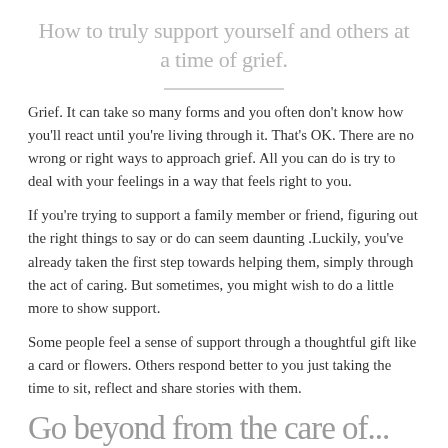How to truly support yourself and others at a time of grief.
Grief. It can take so many forms and you often don't know how you'll react until you're living through it. That's OK. There are no wrong or right ways to approach grief. All you can do is try to deal with your feelings in a way that feels right to you.
If you're trying to support a family member or friend, figuring out the right things to say or do can seem daunting .Luckily, you've already taken the first step towards helping them, simply through the act of caring. But sometimes, you might wish to do a little more to show support.
Some people feel a sense of support through a thoughtful gift like a card or flowers. Others respond better to you just taking the time to sit, reflect and share stories with them.
Go beyond formal care of...